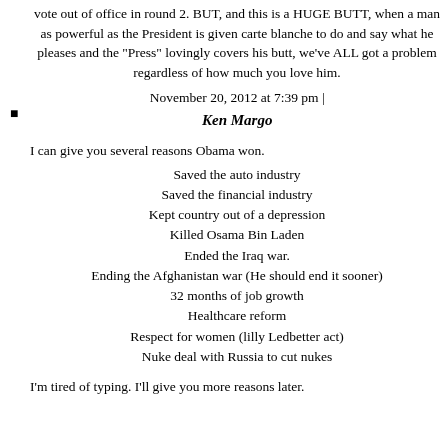vote out of office in round 2. BUT, and this is a HUGE BUTT, when a man as powerful as the President is given carte blanche to do and say what he pleases and the "Press" lovingly covers his butt, we've ALL got a problem regardless of how much you love him.
November 20, 2012 at 7:39 pm |
Ken Margo
I can give you several reasons Obama won.
Saved the auto industry
Saved the financial industry
Kept country out of a depression
Killed Osama Bin Laden
Ended the Iraq war.
Ending the Afghanistan war (He should end it sooner)
32 months of job growth
Healthcare reform
Respect for women (lilly Ledbetter act)
Nuke deal with Russia to cut nukes
I'm tired of typing. I'll give you more reasons later.